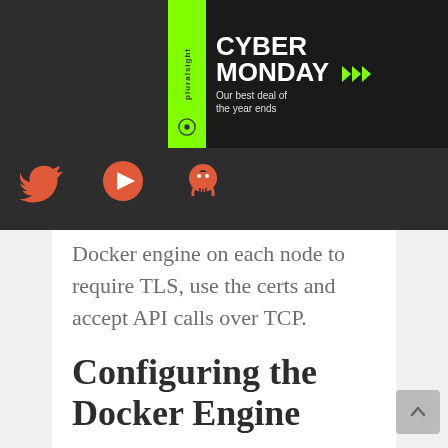CYBER MONDAY ▶▶▶ Our best deal of the year ends
[Figure (logo): Social media icons: Twitter bird, play button (YouTube), GitHub octocat — in red/orange on dark background]
Docker engine on each node to require TLS, use the certs and accept API calls over TCP.
Configuring the Docker Engine
You can use a JSON config file to configure Docker, or you can pass all the parameters into the Docker engine service startup command. The JSON file is the better option,